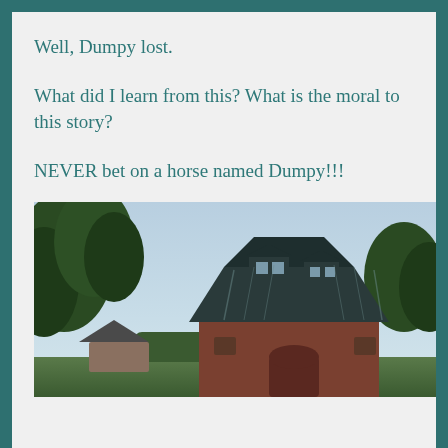Well, Dumpy lost.
What did I learn from this? What is the moral to this story?
NEVER bet on a horse named Dumpy!!!
[Figure (photo): Outdoor photograph of a red barn with a dark gambrel roof and dormers, surrounded by trees under a hazy blue sky. A smaller outbuilding is visible to the left.]